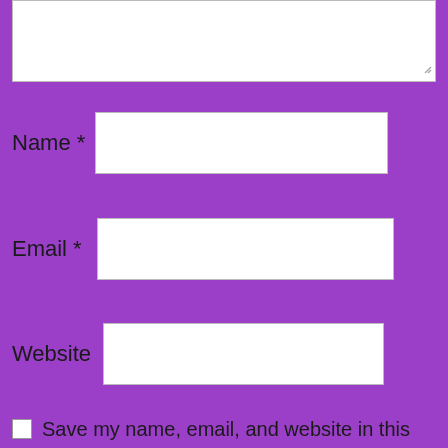[Figure (screenshot): A comment form UI on a purple background. Contains a text area at the top (partially visible), followed by labeled input fields for Name (required), Email (required), and Website, a checkbox labeled 'Save my name, email, and website in this browser for the next time I comment.', and a 'Post Comment' button.]
Name *
Email *
Website
Save my name, email, and website in this browser for the next time I comment.
Post Comment